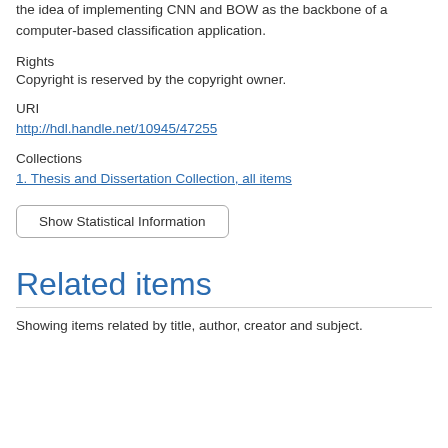the idea of implementing CNN and BOW as the backbone of a computer-based classification application.
Rights
Copyright is reserved by the copyright owner.
URI
http://hdl.handle.net/10945/47255
Collections
1. Thesis and Dissertation Collection, all items
Show Statistical Information
Related items
Showing items related by title, author, creator and subject.